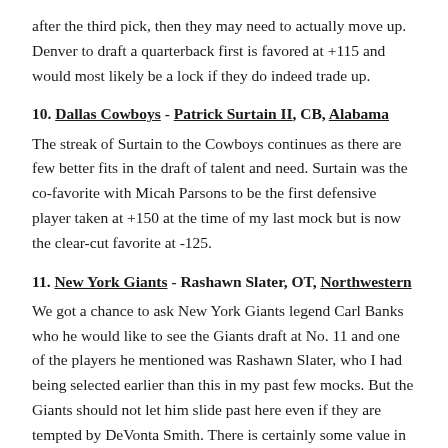after the third pick, then they may need to actually move up. Denver to draft a quarterback first is favored at +115 and would most likely be a lock if they do indeed trade up.
10. Dallas Cowboys - Patrick Surtain II, CB, Alabama
The streak of Surtain to the Cowboys continues as there are few better fits in the draft of talent and need. Surtain was the co-favorite with Micah Parsons to be the first defensive player taken at +150 at the time of my last mock but is now the clear-cut favorite at -125.
11. New York Giants - Rashawn Slater, OT, Northwestern
We got a chance to ask New York Giants legend Carl Banks who he would like to see the Giants draft at No. 11 and one of the players he mentioned was Rashawn Slater, who I had being selected earlier than this in my past few mocks. But the Giants should not let him slide past here even if they are tempted by DeVonta Smith. There is certainly some value in the offensive lineman first position picked by the Giants at +300.